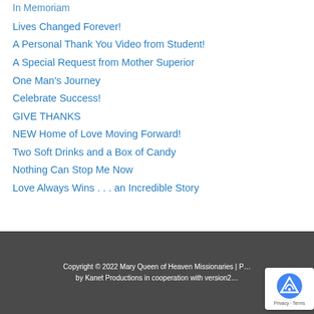In Memoriam
Lives Changed Forever!
A Personal Thank You Video from Student!
A Special Request from Mother Superior
One Man's Journey
Celebrate Success!
GIVE THANKS
NEW Home of Love Moving Forward!
Two Soft Drinks and a Box of Candy
Nothing Can Stop Me Now
Love Always Wins . . . an Incredible Story
Copyright © 2022 Mary Queen of Heaven Missionaries | P… by Kanet Productions in cooperation with version2…